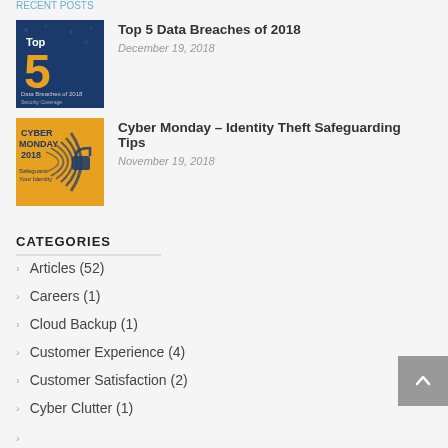RECENT POSTS (partial)
[Figure (illustration): Blue background with 'Top 5 Data Breaches of 2018' text and number 5 in gold]
Top 5 Data Breaches of 2018
December 19, 2018
[Figure (illustration): Gold/blue background with 'Cyber Monday 2018 – Safeguard Your Identity' text and fingerprint graphic]
Cyber Monday – Identity Theft Safeguarding Tips
November 19, 2018
CATEGORIES
Articles (52)
Careers (1)
Cloud Backup (1)
Customer Experience (4)
Customer Satisfaction (2)
Cyber Clutter (1)